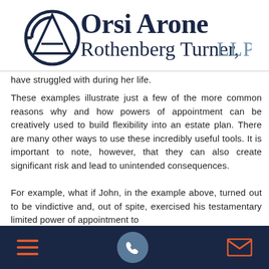[Figure (logo): Orsi Arone Rothenberg Turner, LLP law firm logo with stylized OA monogram]
have struggled with during her life.
These examples illustrate just a few of the more common reasons why and how powers of appointment can be creatively used to build flexibility into an estate plan. There are many other ways to use these incredibly useful tools. It is important to note, however, that they can also create significant risk and lead to unintended consequences.
For example, what if John, in the example above, turned out to be vindictive and, out of spite, exercised his testamentary limited power of appointment to
[Figure (infographic): Mobile website footer bar with dark navy background containing hamburger menu icon (orange), phone call button (circular grey-blue), and email envelope icon (orange)]